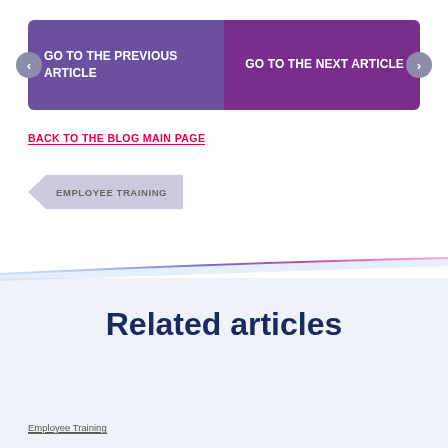GO TO THE PREVIOUS ARTICLE
GO TO THE NEXT ARTICLE
BACK TO THE BLOG MAIN PAGE
EMPLOYEE TRAINING
Related articles
Employee Training